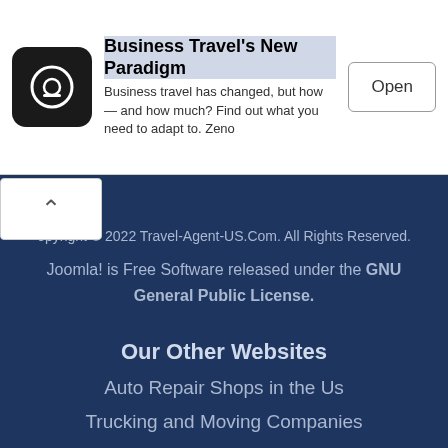[Figure (screenshot): Advertisement banner: Business Travel's New Paradigm with app icon and Open button]
Copyright © 2022 Travel-Agent-US.Com. All Rights Reserved.
Joomla! is Free Software released under the GNU General Public License.
Our Other Websites
Auto Repair Shops in the Us
Trucking and Moving Companies
Real Estate Agents in Texas
Photo Studio Near You
Find Awesome Developer Tools